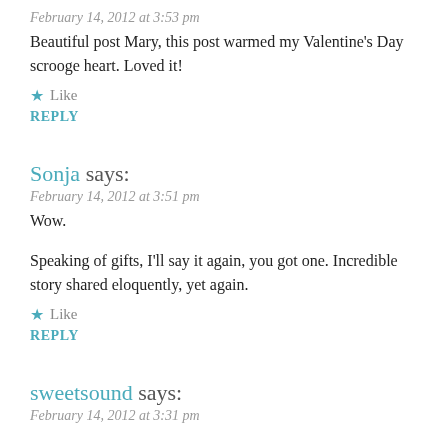February 14, 2012 at 3:53 pm
Beautiful post Mary, this post warmed my Valentine's Day scrooge heart. Loved it!
★ Like
REPLY
Sonja says:
February 14, 2012 at 3:51 pm
Wow.
Speaking of gifts, I'll say it again, you got one. Incredible story shared eloquently, yet again.
★ Like
REPLY
sweetsound says:
February 14, 2012 at 3:31 pm